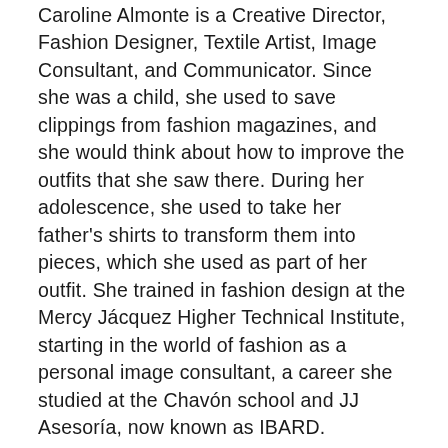Caroline Almonte is a Creative Director, Fashion Designer, Textile Artist, Image Consultant, and Communicator. Since she was a child, she used to save clippings from fashion magazines, and she would think about how to improve the outfits that she saw there. During her adolescence, she used to take her father's shirts to transform them into pieces, which she used as part of her outfit. She trained in fashion design at the Mercy Jácquez Higher Technical Institute, starting in the world of fashion as a personal image consultant, a career she studied at the Chavón school and JJ Asesoría, now known as IBARD.
Currently, she is part of the teaching facilitators at the Mercy Jácquez Institute,